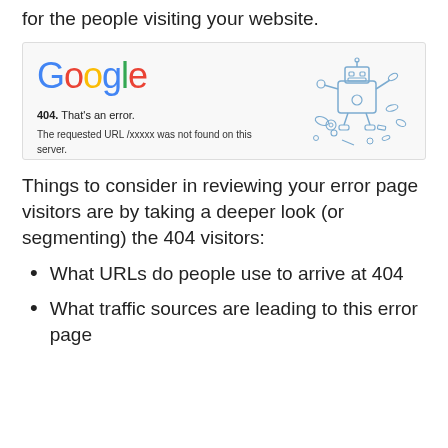for the people visiting your website.
[Figure (screenshot): Google 404 error page screenshot showing the Google logo, '404. That's an error.' message, 'The requested URL /xxxxx was not found on this server. That's all we know.' text, and a broken robot illustration on the right side.]
Things to consider in reviewing your error page visitors are by taking a deeper look (or segmenting) the 404 visitors:
What URLs do people use to arrive at 404
What traffic sources are leading to this error page